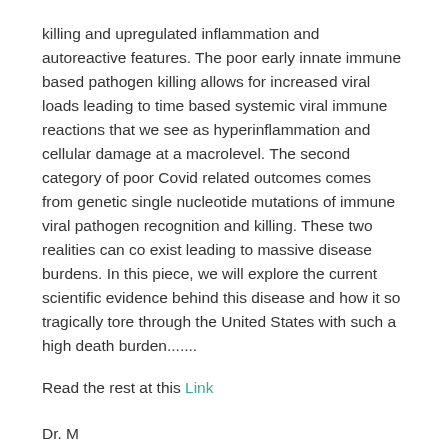killing and upregulated inflammation and autoreactive features. The poor early innate immune based pathogen killing allows for increased viral loads leading to time based systemic viral immune reactions that we see as hyperinflammation and cellular damage at a macrolevel. The second category of poor Covid related outcomes comes from genetic single nucleotide mutations of immune viral pathogen recognition and killing. These two realities can co exist leading to massive disease burdens. In this piece, we will explore the current scientific evidence behind this disease and how it so tragically tore through the United States with such a high death burden.......
Read the rest at this Link
Dr. M
Yanuck Integr Medicine
Garvin eLifesciences
Import Editor Adv...